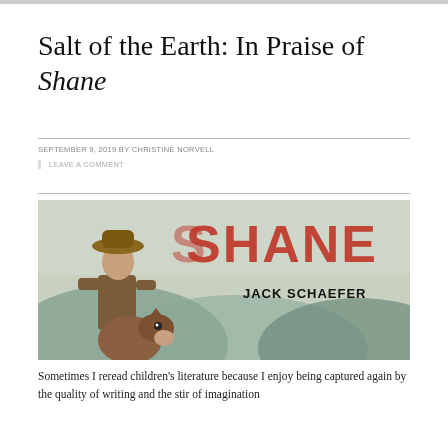Salt of the Earth: In Praise of Shane
SEPTEMBER 9, 2019 BY CHRISTINE NORVELL
LEAVE A COMMENT
[Figure (illustration): Book cover of 'Shane' by Jack Schaefer, showing a cowboy in a hat with a horse, large red text 'SHANE' and author name 'JACK SCHAEFER' in black on the right side.]
Sometimes I reread children's literature because I enjoy being captured again by the quality of writing and the stir of imagination